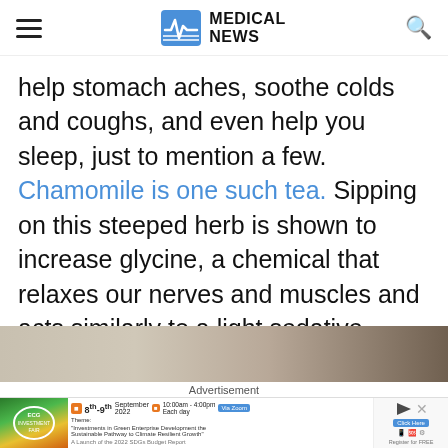Medical News
help stomach aches, soothe colds and coughs, and even help you sleep, just to mention a few. Chamomile is one such tea. Sipping on this steeped herb is shown to increase glycine, a chemical that relaxes our nerves and muscles and acts similarly to a light sedative.
[Figure (photo): Partial image of a person sleeping, cut off at bottom of page]
Advertisement
[Figure (infographic): Advertisement banner for ECG Investment Fair, 8th-9th September 2022, 10:00am-4:00pm, via Zoom]